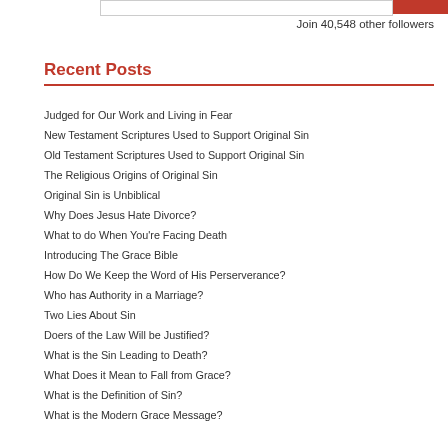Join 40,548 other followers
Recent Posts
Judged for Our Work and Living in Fear
New Testament Scriptures Used to Support Original Sin
Old Testament Scriptures Used to Support Original Sin
The Religious Origins of Original Sin
Original Sin is Unbiblical
Why Does Jesus Hate Divorce?
What to do When You're Facing Death
Introducing The Grace Bible
How Do We Keep the Word of His Perserverance?
Who has Authority in a Marriage?
Two Lies About Sin
Doers of the Law Will be Justified?
What is the Sin Leading to Death?
What Does it Mean to Fall from Grace?
What is the Definition of Sin?
What is the Modern Grace Message?